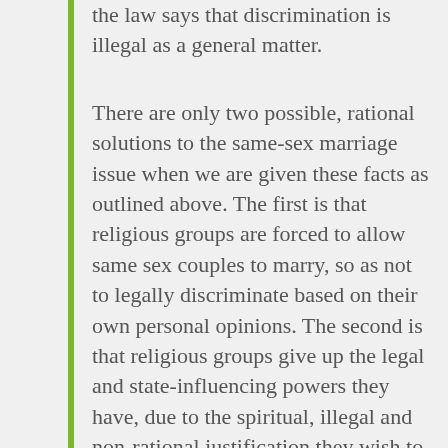the law says that discrimination is illegal as a general matter.
There are only two possible, rational solutions to the same-sex marriage issue when we are given these facts as outlined above. The first is that religious groups are forced to allow same sex couples to marry, so as not to legally discriminate based on their own personal opinions. The second is that religious groups give up the legal and state-influencing powers they have, due to the spiritual, illegal and non-rational justification they wish to give to discrimination. These are the onlytwo moral options: there is no middle ground, just as there isn't with the Savile case.